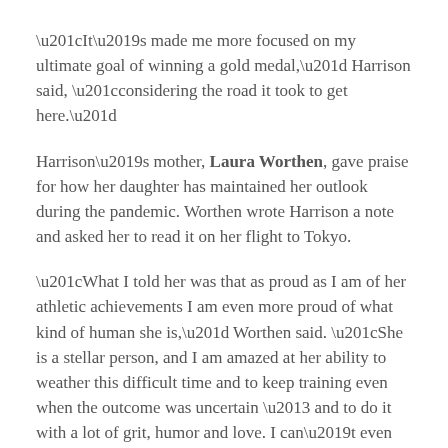“It’s made me more focused on my ultimate goal of winning a gold medal,” Harrison said, “considering the road it took to get here.”
Harrison’s mother, Laura Worthen, gave praise for how her daughter has maintained her outlook during the pandemic. Worthen wrote Harrison a note and asked her to read it on her flight to Tokyo.
“What I told her was that as proud as I am of her athletic achievements I am even more proud of what kind of human she is,” Worthen said. “She is a stellar person, and I am amazed at her ability to weather this difficult time and to keep training even when the outcome was uncertain – and to do it with a lot of grit, humor and love. I can’t even measure how much pride I have.”